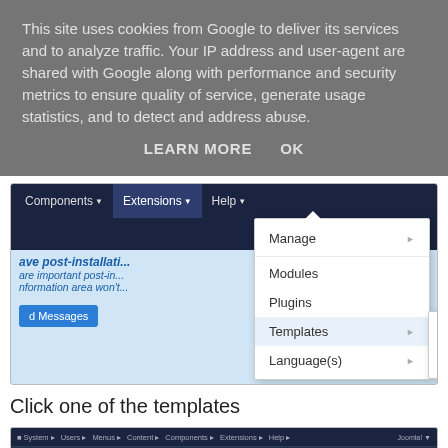This site uses cookies from Google to deliver its services and to analyze traffic. Your IP address and user-agent are shared with Google along with performance and security metrics to ensure quality of service, generate usage statistics, and to detect and address abuse.
LEARN MORE    OK
[Figure (screenshot): Joomla CMS backend showing the Extensions dropdown menu expanded, with sub-items: Manage, Modules, Plugins, Templates (with sub-menu showing Styles and Templates), Language(s)]
Click one of the templates
[Figure (screenshot): Joomla CMS Templates: Templates (Site) admin page header with Joomla logo]